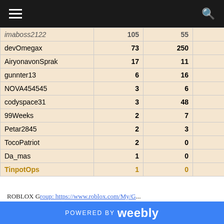Navigation bar with hamburger menu and search icon
| Username | Col2 | Col3 | Col4 |
| --- | --- | --- | --- |
| imaboss2122 | 105 | 55 | 3.16 |
| devOmegax | 73 | 250 | 0.29 |
| AiryonavonSprak | 17 | 11 | 1.54 |
| gunnter13 | 6 | 16 | 0.37 |
| NOVA454545 | 3 | 6 | 0.5 |
| codyspace31 | 3 | 48 | 0.06 |
| 99Weeks | 2 | 7 | 0.28 |
| Petar2845 | 2 | 3 | 0.66 |
| TocoPatriot | 2 | 0 | #DIV/0! |
| Da_mas | 1 | 0 | #DIV/0! |
| TinpotOps | 1 | 0 | #DIV/0! |
Each week we compile a Q&A section here whenever there are any new questions posted on the RoVerse Community group wall or in the Community Discord Server. Be sure to join if you have any questions about RoVerse:
POWERED BY weebly